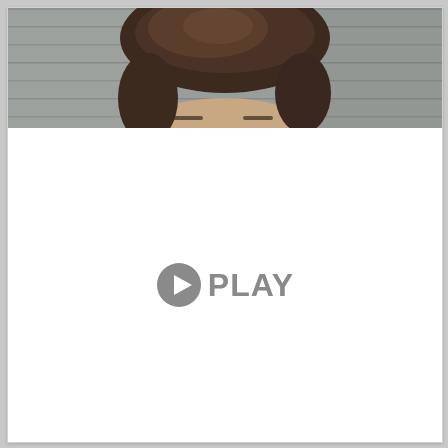[Figure (photo): Top portion of a person's head with brown hair visible against a grey wooden background, cropped at the eyes]
[Figure (other): White area with a grey play button icon (circle with triangle) followed by the text PLAY in bold grey capital letters, centered in the content area]